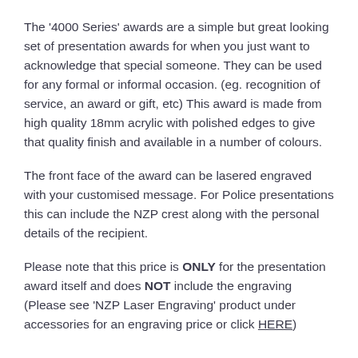The '4000 Series' awards are a simple but great looking set of presentation awards for when you just want to acknowledge that special someone. They can be used for any formal or informal occasion. (eg. recognition of service, an award or gift, etc) This award is made from high quality 18mm acrylic with polished edges to give that quality finish and available in a number of colours.
The front face of the award can be lasered engraved with your customised message. For Police presentations this can include the NZP crest along with the personal details of the recipient.
Please note that this price is ONLY for the presentation award itself and does NOT include the engraving (Please see 'NZP Laser Engraving' product under accessories for an engraving price or click HERE)